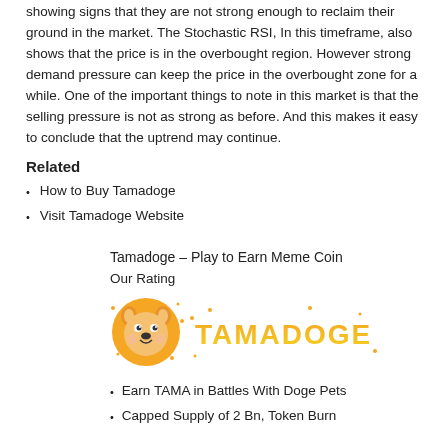showing signs that they are not strong enough to reclaim their ground in the market. The Stochastic RSI, In this timeframe, also shows that the price is in the overbought region. However strong demand pressure can keep the price in the overbought zone for a while. One of the important things to note in this market is that the selling pressure is not as strong as before. And this makes it easy to conclude that the uptrend may continue.
Related
How to Buy Tamadoge
Visit Tamadoge Website
Tamadoge – Play to Earn Meme Coin
Our Rating
[Figure (logo): Tamadoge logo — orange circle with cartoon dog face and TAMADOGE text in orange/yellow gradient lettering with decorative dots]
Earn TAMA in Battles With Doge Pets
Capped Supply of 2 Bn, Token Burn